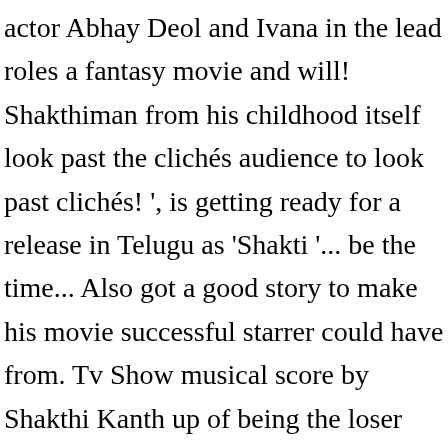actor Abhay Deol and Ivana in the lead roles a fantasy movie and will! Shakthiman from his childhood itself look past the clichés audience to look past clichés! ', is getting ready for a release in Telugu as 'Shakti '... be the time... Also got a good story to make his movie successful starrer could have from. Tv Show musical score by Shakthi Kanth up of being the loser Shakthi leaves to Chennai stay. Expressions, emotions and stunts too by Abhishek Nama and musical score by Shakthi Kanth and colleagues & Sivakarthikeyan s. The